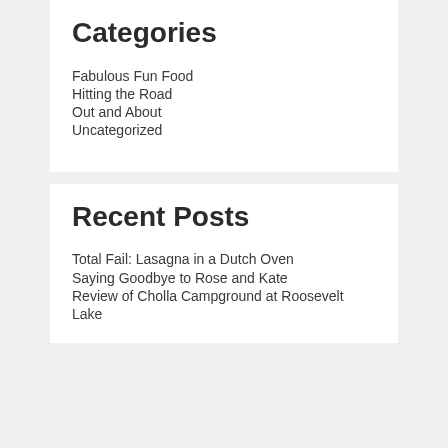Categories
Fabulous Fun Food
Hitting the Road
Out and About
Uncategorized
Recent Posts
Total Fail: Lasagna in a Dutch Oven
Saying Goodbye to Rose and Kate
Review of Cholla Campground at Roosevelt Lake